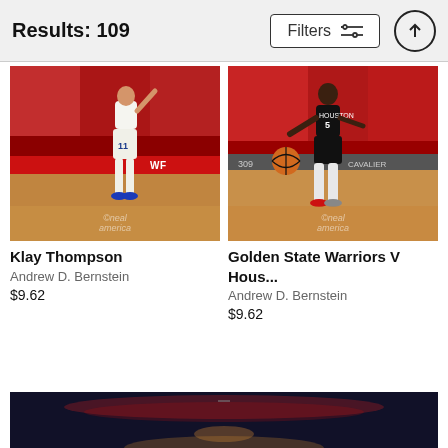Results: 109
Filters
[Figure (photo): NBA basketball player Klay Thompson in Golden State Warriors white uniform, shooting gesture, crowd in red in background, NBA arena court]
Klay Thompson
Andrew D. Bernstein
$9.62
[Figure (photo): NBA basketball player in Houston Rockets black uniform number 5, dribbling ball on court, crowd in red in background]
Golden State Warriors V Hous...
Andrew D. Bernstein
$9.62
[Figure (photo): Partial view of NBA arena interior with crowd and basketball court, dark image cropped at bottom of page]